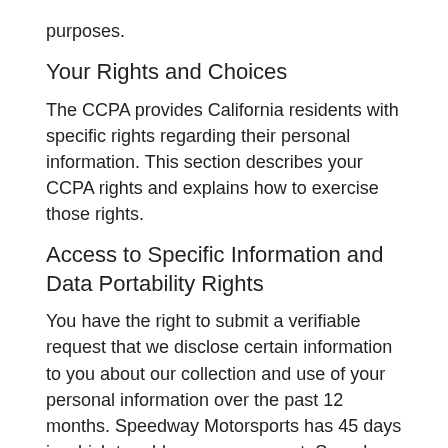purposes.
Your Rights and Choices
The CCPA provides California residents with specific rights regarding their personal information. This section describes your CCPA rights and explains how to exercise those rights.
Access to Specific Information and Data Portability Rights
You have the right to submit a verifiable request that we disclose certain information to you about our collection and use of your personal information over the past 12 months. Speedway Motorsports has 45 days in which to address your request. Speedway Motorsports is entitled to request further personal information from you in order to verify the genuineness of the request and/or to verify correctly your identity within its system. If you have a complex request, the CCPA allows us up to ninety (90)